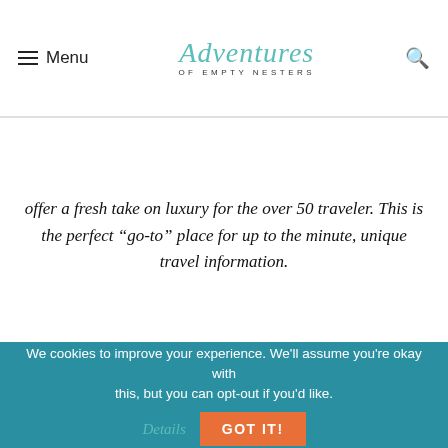Menu | Adventures of Empty Nesters
offer a fresh take on luxury for the over 50 traveler. This is the perfect “go-to” place for up to the minute, unique travel information.
[Figure (logo): RHEA Footwear purple logo box with white text and decorative bottom bar]
Rhea Footwear
Do you know about the no-slip technology? I have had lots of
We cookies to improve your experience. We'll assume you're okay with this, but you can opt-out if you'd like.   Details   GOT IT!